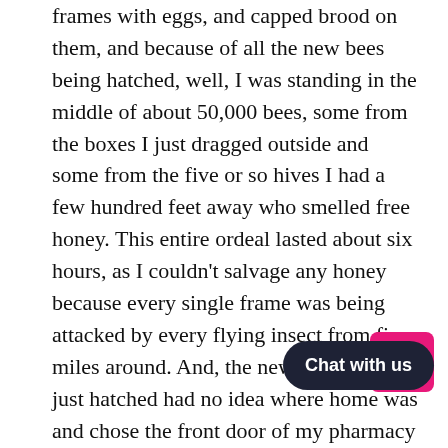frames with eggs, and capped brood on them, and because of all the new bees being hatched, well, I was standing in the middle of about 50,000 bees, some from the boxes I just dragged outside and some from the five or so hives I had a few hundred feet away who smelled free honey. This entire ordeal lasted about six hours, as I couldn't salvage any honey because every single frame was being attacked by every flying insect from five miles around. And, the new bees that had just hatched had no idea where home was and chose the front door of my pharmacy as their place of residence, which didn't sit well with our UPS driver or any of our customers.

I spoke about this incident with three different beekeepers and each one of them said what I had ha... ten million accident and that I should... than dwell on it. I have changed my methods for harvesting honey, I assure you.